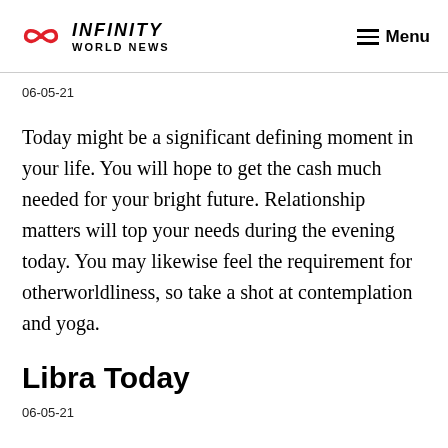INFINITY WORLD NEWS  Menu
06-05-21
Today might be a significant defining moment in your life. You will hope to get the cash much needed for your bright future. Relationship matters will top your needs during the evening today. You may likewise feel the requirement for otherworldliness, so take a shot at contemplation and yoga.
Libra Today
06-05-21